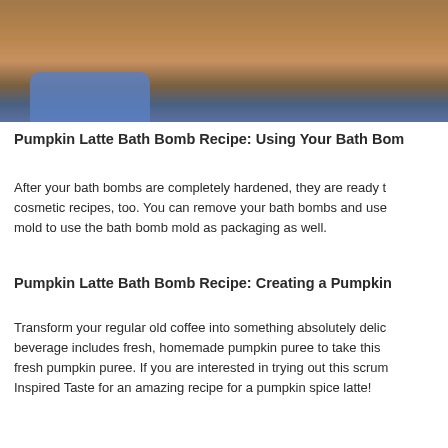[Figure (photo): A close-up photo of a rounded bath bomb being held by a gloved hand (blue latex glove). The bath bomb appears brown/tan in color, resembling a pumpkin latte. The background is a workshop or crafting surface.]
Pumpkin Latte Bath Bomb Recipe: Using Your Bath Bom
After your bath bombs are completely hardened, they are ready to use in cosmetic recipes, too. You can remove your bath bombs and use the mold to use the bath bomb mold as packaging as well.
Pumpkin Latte Bath Bomb Recipe: Creating a Pumpkin
Transform your regular old coffee into something absolutely delic beverage includes fresh, homemade pumpkin puree to take this fresh pumpkin puree. If you are interested in trying out this scrum Inspired Taste for an amazing recipe for a pumpkin spice latte!